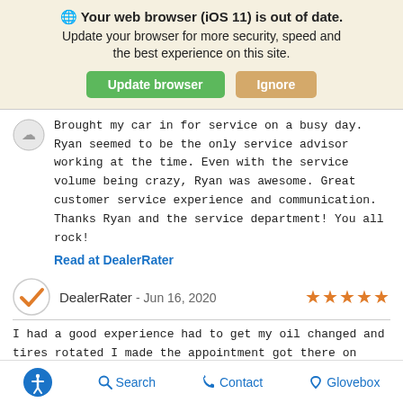🌐 Your web browser (iOS 11) is out of date. Update your browser for more security, speed and the best experience on this site.
Update browser | Ignore
Brought my car in for service on a busy day. Ryan seemed to be the only service advisor working at the time. Even with the service volume being crazy, Ryan was awesome. Great customer service experience and communication. Thanks Ryan and the service department! You all rock!
Read at DealerRater
DealerRater - Jun 16, 2020 ★★★★★
I had a good experience had to get my oil changed and tires rotated I made the appointment got there on time.they were very friendly got the job done in a timely manner. It was a good experience thanks to Jack
Accessibility Search Contact Glovebox